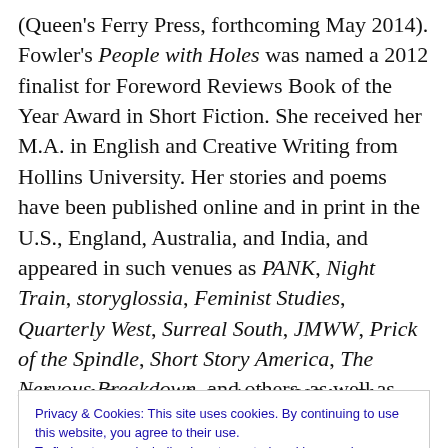(Queen's Ferry Press, forthcoming May 2014). Fowler's People with Holes was named a 2012 finalist for Foreword Reviews Book of the Year Award in Short Fiction. She received her M.A. in English and Creative Writing from Hollins University. Her stories and poems have been published online and in print in the U.S., England, Australia, and India, and appeared in such venues as PANK, Night Train, storyglossia, Feminist Studies, Quarterly West, Surreal South, JMWW, Prick of the Spindle, Short Story America, The Nervous Breakdown, and others, as well as having been nominated
Privacy & Cookies: This site uses cookies. By continuing to use this website, you agree to their use. To find out more, including how to control cookies, see here: Cookie Policy
Colonial Cultures & Societies (USA). Please visit her